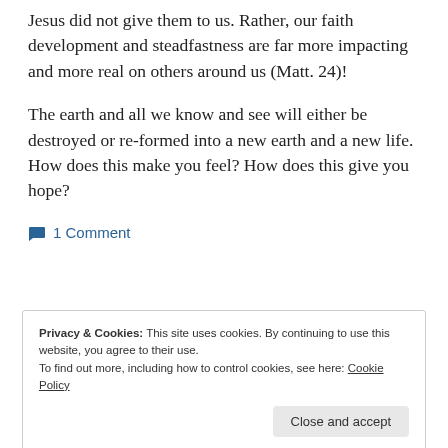Jesus did not give them to us. Rather, our faith development and steadfastness are far more impacting and more real on others around us (Matt. 24)!
The earth and all we know and see will either be destroyed or re-formed into a new earth and a new life. How does this make you feel? How does this give you hope?
1 Comment
Privacy & Cookies: This site uses cookies. By continuing to use this website, you agree to their use.
To find out more, including how to control cookies, see here: Cookie Policy
Close and accept
Christ with Certainty